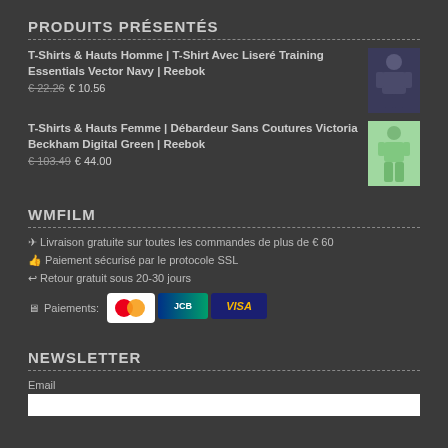PRODUITS PRÉSENTÉS
T-Shirts & Hauts Homme | T-Shirt Avec Liseré Training Essentials Vector Navy | Reebok
€ 22.26 € 10.56
T-Shirts & Hauts Femme | Débardeur Sans Coutures Victoria Beckham Digital Green | Reebok
€ 103.49 € 44.00
WMFILM
✈ Livraison gratuite sur toutes les commandes de plus de € 60
👍 Paiement sécurisé par le protocole SSL
↩ Retour gratuit sous 20-30 jours
Paiements: [Mastercard] [JCB] [VISA]
NEWSLETTER
Email